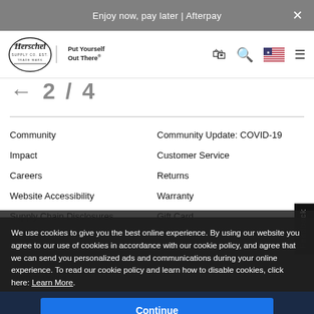Enjoy now, pay later | Afterpay
[Figure (logo): Herschel Supply Co. logo with tagline 'Put Yourself Out There']
Community
Community Update: COVID-19
Impact
Customer Service
Careers
Returns
Website Accessibility
Warranty
Supply Chain Disclosures
Gift Card
Dealers
Terms of Use
Privacy Policy
Brand Ambassadors
We use cookies to give you the best online experience. By using our website you agree to our use of cookies in accordance with our cookie policy, and agree that we can send you personalized ads and communications during your online experience. To read our cookie policy and learn how to disable cookies, click here: Learn More
Continue
Add to Cart • $31.99